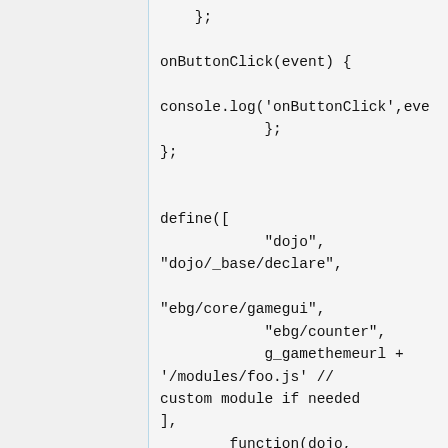};

onButtonClick(event) {

console.log('onButtonClick',eve
            };
};


define([
            "dojo",
"dojo/_base/declare",

"ebg/core/gamegui",
            "ebg/counter",
            g_gamethemeurl +
'/modules/foo.js' //
custom module if needed
],
        function(dojo,
declare) {
                    // testla
is game name is has to be
changed
                    return